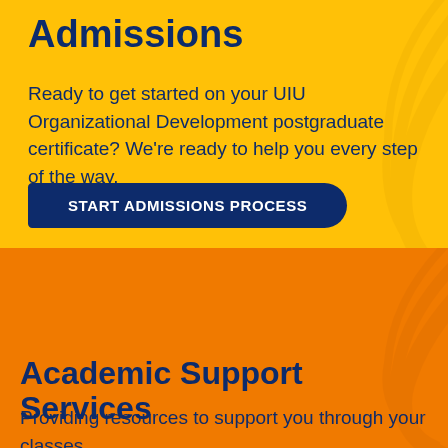Admissions
Ready to get started on your UIU Organizational Development postgraduate certificate? We’re ready to help you every step of the way.
START ADMISSIONS PROCESS
Academic Support Services
Providing resources to support you through your classes.